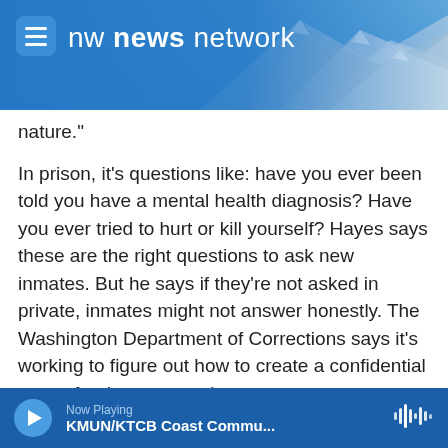nw news network
nature."
In prison, it's questions like: have you ever been told you have a mental health diagnosis? Have you ever tried to hurt or kill yourself? Hayes says these are the right questions to ask new inmates. But he says if they're not asked in private, inmates might not answer honestly. The Washington Department of Corrections says it's working to figure out how to create a confidential space for these screenings.
In his report Hayes also noted, "the key to any suicide prevention program is properly trained
Now Playing KMUN/KTCB Coast Commu...